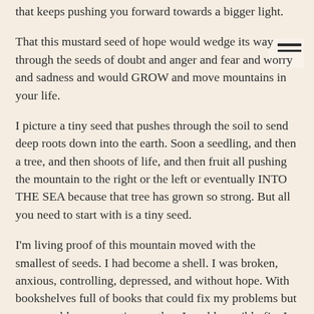that keeps pushing you forward towards a bigger light.
That this mustard seed of hope would wedge its way through the seeds of doubt and anger and fear and worry and sadness and would GROW and move mountains in your life.
I picture a tiny seed that pushes through the soil to send deep roots down into the earth. Soon a seedling, and then a tree, and then shoots of life, and then fruit all pushing the mountain to the right or the left or eventually INTO THE SEA because that tree has grown so strong. But all you need to start with is a tiny seed.
I'm living proof of this mountain moved with the smallest of seeds. I had become a shell. I was broken, anxious, controlling, depressed, and without hope. With bookshelves full of books that could fix my problems but more problems mounting up than I could possibly fix, I was tired of